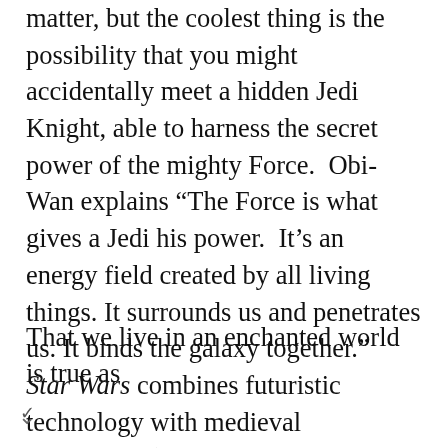matter, but the coolest thing is the possibility that you might accidentally meet a hidden Jedi Knight, able to harness the secret power of the mighty Force.  Obi-Wan explains “The Force is what gives a Jedi his power.  It’s an energy field created by all living things. It surrounds us and penetrates us. It binds the galaxy together.”  Star Wars combines futuristic technology with medieval cosmology (albeit one more Manichean than Christian).
That we live in an enchanted world is true as